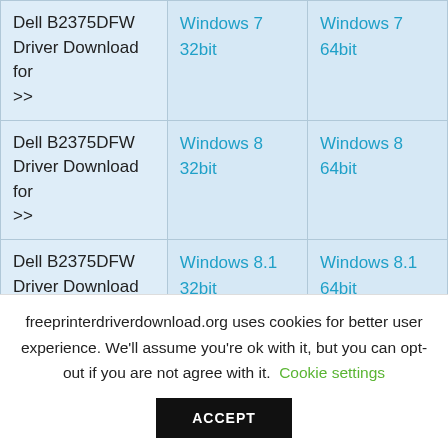|  |  |  |
| --- | --- | --- |
| Dell B2375DFW Driver Download for >> | Windows 7 32bit | Windows 7 64bit |
| Dell B2375DFW Driver Download for >> | Windows 8 32bit | Windows 8 64bit |
| Dell B2375DFW Driver Download for >> | Windows 8.1 32bit | Windows 8.1 64bit |
| Dell B2375DFW |  |  |
freeprinterdriverdownload.org uses cookies for better user experience. We'll assume you're ok with it, but you can opt-out if you are not agree with it. Cookie settings
ACCEPT